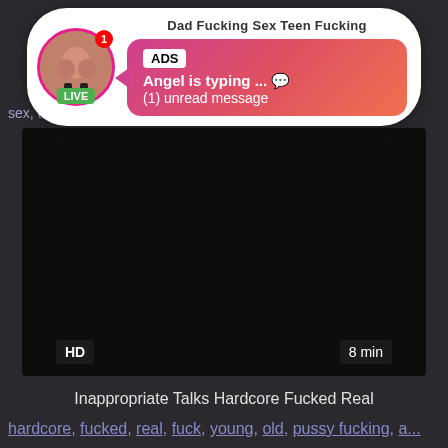[Figure (screenshot): Ad popup overlay showing a live chat notification with avatar, LIVE badge, gradient message bubble with 'ADS', 'Angel is typing ... ' and '(1) unread message']
sex, t... fa...
[Figure (screenshot): Dark video thumbnail with HD badge and 8 min duration label]
Inappropriate Talks Hardcore Fucked Real
hardcore, fucked, real, fuck, young, old, pussy fucking, a...